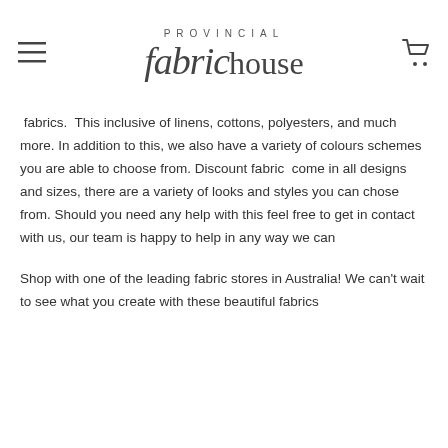PROVINCIAL fabrichouse
fabrics.  This inclusive of linens, cottons, polyesters, and much more. In addition to this, we also have a variety of colours schemes you are able to choose from. Discount fabric  come in all designs and sizes, there are a variety of looks and styles you can chose from. Should you need any help with this feel free to get in contact with us, our team is happy to help in any way we can
Shop with one of the leading fabric stores in Australia! We can't wait to see what you create with these beautiful fabrics